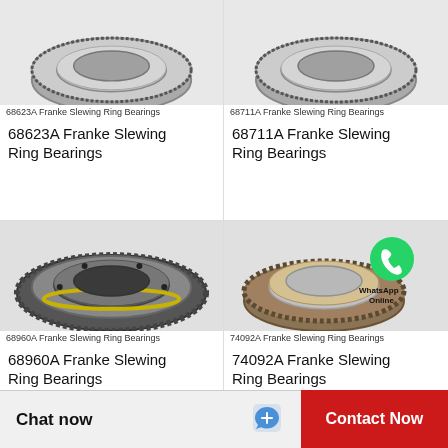[Figure (photo): 68623A Franke Slewing Ring Bearing product photo (top, partially visible)]
68623A Franke Slewing Ring Bearings
68623A Franke Slewing Ring Bearings
[Figure (photo): 68711A Franke Slewing Ring Bearing product photo (top, partially visible)]
68711A Franke Slewing Ring Bearings
68711A Franke Slewing Ring Bearings
[Figure (photo): 68960A Franke Slewing Ring Bearing product photo showing full ring with gear teeth and ball bearings visible]
68960A Franke Slewing Ring Bearings
68960A Franke Slewing Ring Bearings
[Figure (photo): 74092A Franke Slewing Ring Bearing product photo with WhatsApp Online overlay]
74092A Franke Slewing Ring Bearings
74092A Franke Slewing Ring Bearings
Chat now
Contact Now